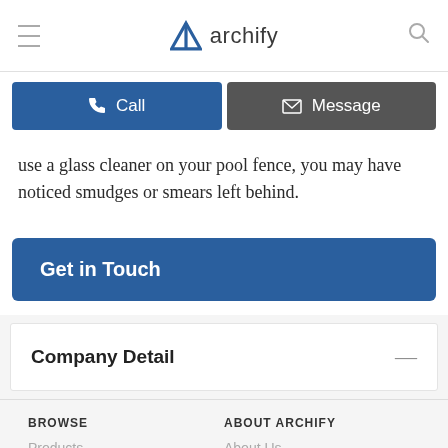archify
Call   Message
use a glass cleaner on your pool fence, you may have noticed smudges or smears left behind.
Get in Touch
Company Detail
BROWSE
Products
Professionals
ABOUT ARCHIFY
About Us
Privacy Policy / ToU